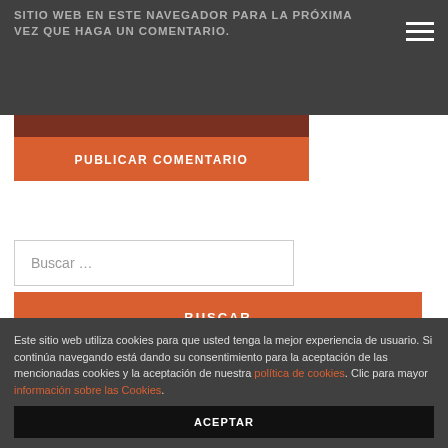SITIO WEB EN ESTE NAVEGADOR PARA LA PRÓXIMA VEZ QUE HAGA UN COMENTARIO.
PUBLICAR COMENTARIO
Buscar …
BUSCAR
ENTRADAS RECIENTES
Este sitio web utiliza cookies para que usted tenga la mejor experiencia de usuario. Si continúa navegando está dando su consentimiento para la aceptación de las mencionadas cookies y la aceptación de nuestra política de cookies. Clic para mayor información sobre las Cookies.
ACEPTAR